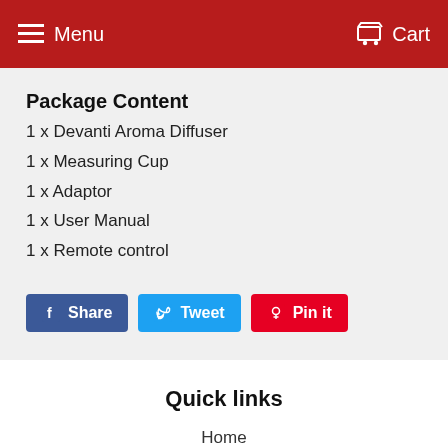Menu  Cart
Package Content
1 x Devanti Aroma Diffuser
1 x Measuring Cup
1 x Adaptor
1 x User Manual
1 x Remote control
[Figure (infographic): Social share buttons: Share (Facebook), Tweet (Twitter), Pin it (Pinterest)]
Quick links
Home
Catalog